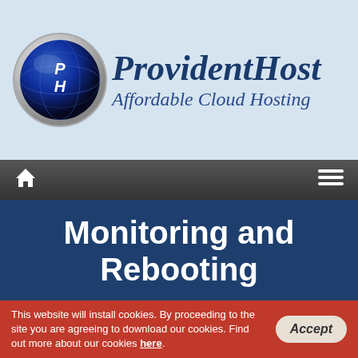[Figure (logo): ProvidentHost logo: circular blue globe with 'PH' letters, beside brand name 'ProvidentHost' and tagline 'Affordable Cloud Hosting' in dark blue italic serif font on light blue background]
Home menu navigation bar with home icon and hamburger menu icon
Monitoring and Rebooting
Discover how with the Monitoring & Rebooting feature you could prevent potential downtimes and optimize your server's performance
This website will install cookies. By proceeding to the site you are agreeing to download our cookies. Find out more about our cookies here. Accept